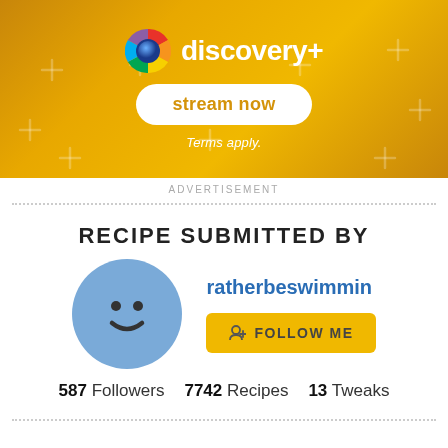[Figure (screenshot): Discovery+ advertisement banner with golden background, logo, 'stream now' button, and 'Terms apply.' text]
ADVERTISEMENT
RECIPE SUBMITTED BY
[Figure (illustration): User avatar: light blue circle with a smiley face icon]
ratherbeswimmin
FOLLOW ME
587 Followers   7742 Recipes   13 Tweaks